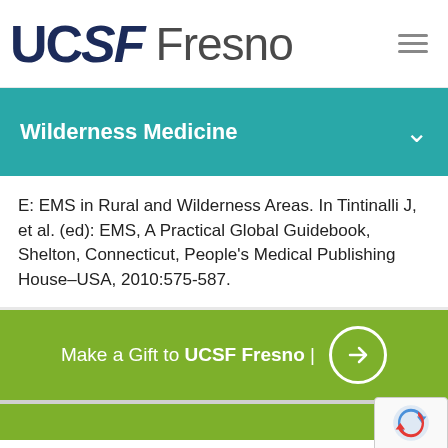UCSF Fresno
Wilderness Medicine
E: EMS in Rural and Wilderness Areas. In Tintinalli J, et al. (ed): EMS, A Practical Global Guidebook, Shelton, Connecticut, People's Medical Publishing House–USA, 2010:575-587.
Make a Gift to UCSF Fresno |